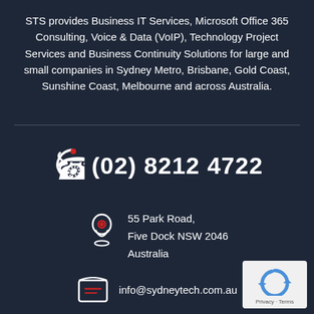STS provides Business IT Services, Microsoft Office 365 Consulting, Voice & Data (VoIP), Technology Project Services and Business Continuity Solutions for large and small companies in Sydney Metro, Brisbane, Gold Coast, Sunshine Coast, Melbourne and across Australia.
(02) 8212 4722
55 Park Road, Five Dock NSW 2046 Australia
info@sydneytech.com.au
[Figure (logo): reCAPTCHA logo with Privacy - Terms text]